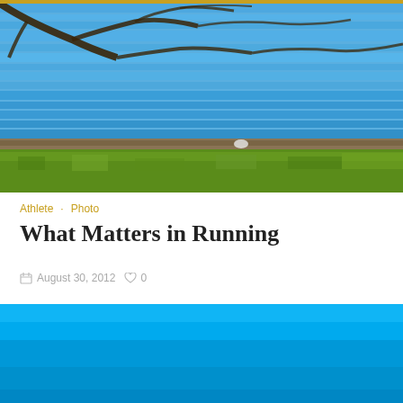[Figure (photo): Outdoor lakeside landscape photo showing blue water with ripples, bare tree branches at the top, and bright green grass/shrubs in the foreground with a sandy/muddy shoreline]
Athlete · Photo
What Matters in Running
August 30, 2012  ♡ 0
[Figure (photo): Outdoor photo with bright blue sky, partial view showing the top of the image cropped — appears to be a running/athlete scene]